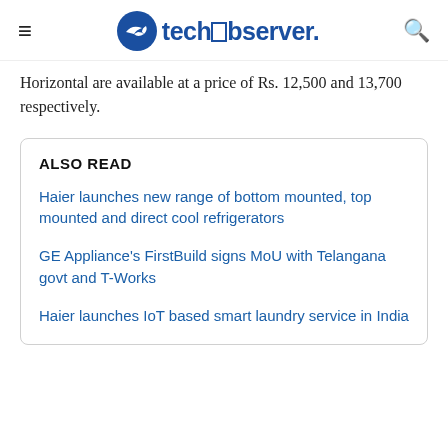techobserver.
Horizontal are available at a price of Rs. 12,500 and 13,700 respectively.
ALSO READ
Haier launches new range of bottom mounted, top mounted and direct cool refrigerators
GE Appliance's FirstBuild signs MoU with Telangana govt and T-Works
Haier launches IoT based smart laundry service in India